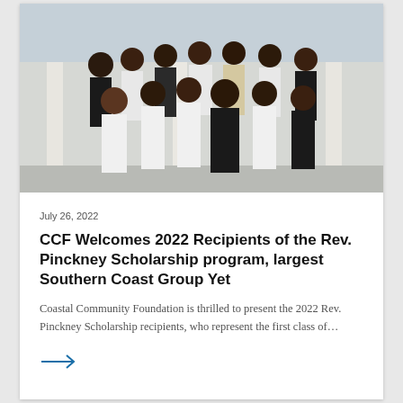[Figure (photo): Group photo of 2022 Rev. Pinckney Scholarship recipients standing in front of a building with white columns. The group consists of approximately 13 young adults and one adult woman, mostly dressed in white and black attire, with name tags visible.]
July 26, 2022
CCF Welcomes 2022 Recipients of the Rev. Pinckney Scholarship program, largest Southern Coast Group Yet
Coastal Community Foundation is thrilled to present the 2022 Rev. Pinckney Scholarship recipients, who represent the first class of…